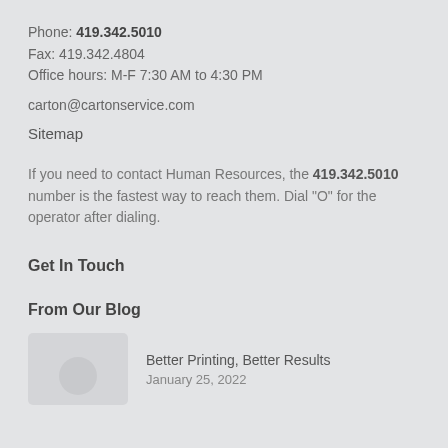Phone: 419.342.5010
Fax: 419.342.4804
Office hours: M-F 7:30 AM to 4:30 PM
carton@cartonservice.com
Sitemap
If you need to contact Human Resources, the 419.342.5010 number is the fastest way to reach them. Dial “O” for the operator after dialing.
Get In Touch
From Our Blog
Better Printing, Better Results
January 25, 2022